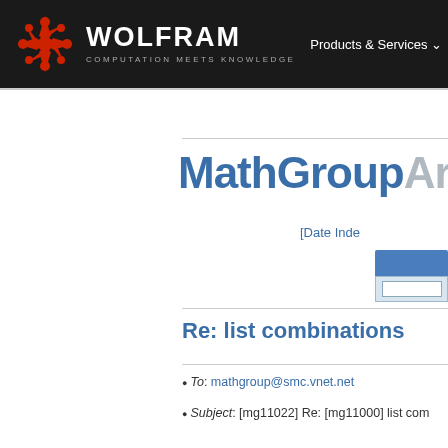WOLFRAM COMPUTATION MEETS KNOWLEDGE | Products & Services
MathGroupArchive
[Date Index]
Re: list combinations
To: mathgroup@smc.vnet.net
Subject: [mg11022] Re: [mg11000] list com